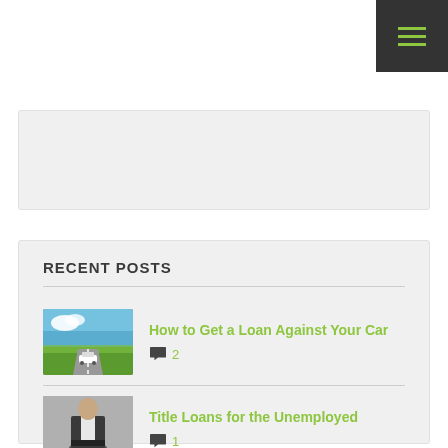[Figure (screenshot): Dark grey navigation bar with hamburger menu icon (three green horizontal lines) in top-right corner]
[Figure (screenshot): Light grey search/widget box with a horizontal divider line]
RECENT POSTS
[Figure (photo): Thumbnail of a car on a road with green fields and blue sky]
How to Get a Loan Against Your Car
2
[Figure (photo): Thumbnail of a person in a suit with empty pockets]
Title Loans for the Unemployed
1